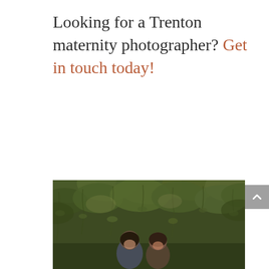Looking for a Trenton maternity photographer? Get in touch today!
[Figure (photo): A couple smiling together outdoors under hanging green foliage and vines. The man is on the left with dark hair and a beard, wearing a blue-gray shirt. The woman is on the right with long dark hair, both looking at the camera.]